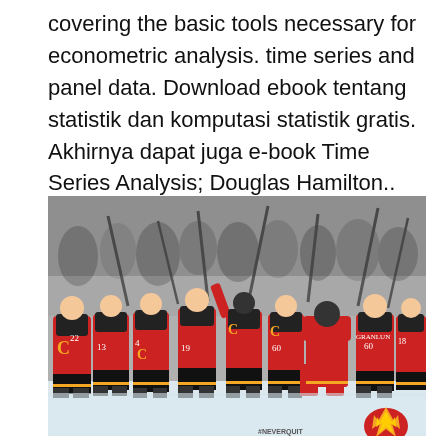covering the basic tools necessary for econometric analysis. time series and panel data. Download ebook tentang statistik dan komputasi statistik gratis. Akhirnya dapat juga e-book Time Series Analysis; Douglas Hamilton.. Terima kasih gan.. Reply..
[Figure (photo): Black and white photo with color-highlighted Calgary Flames hockey players in red jerseys celebrating on the ice, crowd visible in background. Calgary Flames logo visible in bottom right corner with #NEVERQUIT text.]